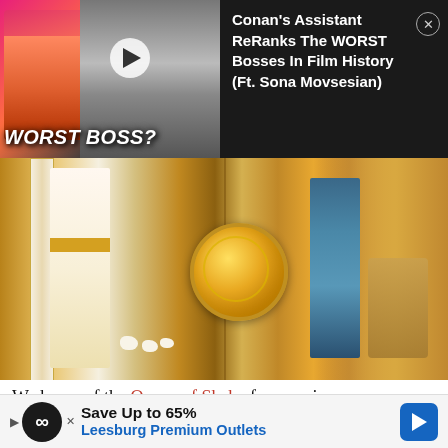[Figure (screenshot): Video ad bar showing a thumbnail for 'Conan's Assistant ReRanks The WORST Bosses In Film History (Ft. Sona Movsesian)' with play button and text on dark background, 'WORST BOSS?' label on thumbnail]
Conan's Assistant ReRanks The WORST Bosses In Film History (Ft. Sona Movsesian)
[Figure (illustration): Ancient painting/illustration depicting a royal scene with figures in Egyptian/Ethiopian style dress, a large gold shield, columns, white animals, and elaborate court setting]
We know of the Queen of Sheba from various sources, including the Bible and the Qur'an. Whether she was a queen regent or a queen consort, we do not know. Her full name isn't ever mentioned, but most scholars believe her kingdom may have been in the region of Ethiopia. The royal f[...] nts of the ch[...] ir
[Figure (screenshot): Advertisement banner: Save Up to 65% - Leesburg Premium Outlets, with navigation arrow]